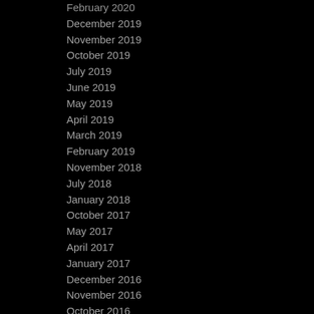February 2020
December 2019
November 2019
October 2019
July 2019
June 2019
May 2019
April 2019
March 2019
February 2019
November 2018
July 2018
January 2018
October 2017
May 2017
April 2017
January 2017
December 2016
November 2016
October 2016
June 2016
May 2016
May 2015
April 2015